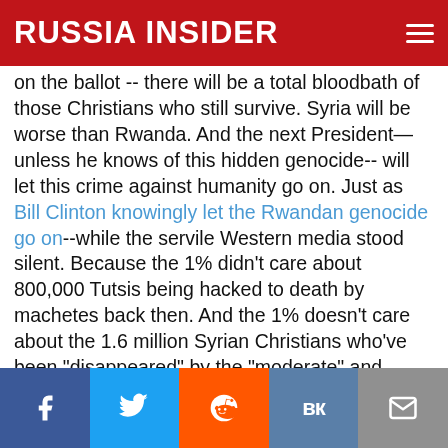RUSSIA INSIDER
on the ballot -- there will be a total bloodbath of those Christians who still survive.  Syria will be worse than Rwanda.  And the next President—unless he knows of this hidden genocide-- will let this crime against humanity go on.  Just as Bill Clinton knowingly let the Rwandan genocide go on--while the servile Western media stood silent.  Because the 1% didn't care about 800,000 Tutsis being hacked to death by machetes back then.  And the 1% doesn't care about the 1.6 million Syrian Christians who've been "disappeared" by the "moderate" and "extremist" terrorists already-- like those Syrian Christian villagers of Kessab.